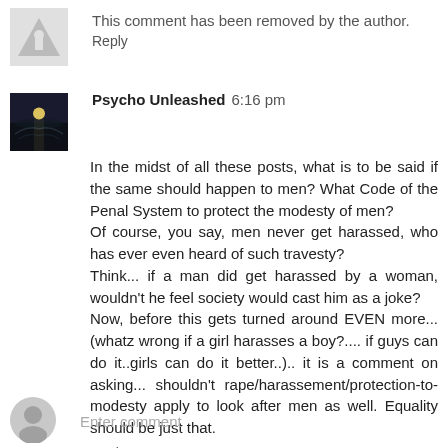[Figure (illustration): Default avatar placeholder (gray triangle/person icon) for removed comment]
This comment has been removed by the author.
Reply
[Figure (photo): User avatar for Psycho Unleashed — dark photo showing moonlit water scene]
Psycho Unleashed 6:16 pm
In the midst of all these posts, what is to be said if the same should happen to men? What Code of the Penal System to protect the modesty of men?
Of course, you say, men never get harassed, who has ever even heard of such travesty?
Think... if a man did get harassed by a woman, wouldn't he feel society would cast him as a joke?
Now, before this gets turned around EVEN more...(whatz wrong if a girl harasses a boy?.... if guys can do it..girls can do it better..).. it is a comment on asking... shouldn't rape/harassement/protection-to-modesty apply to look after men as well. Equality should be just that.
Reply
[Figure (illustration): Default avatar placeholder (gray circle/person icon) for Enter comment field]
Enter comment